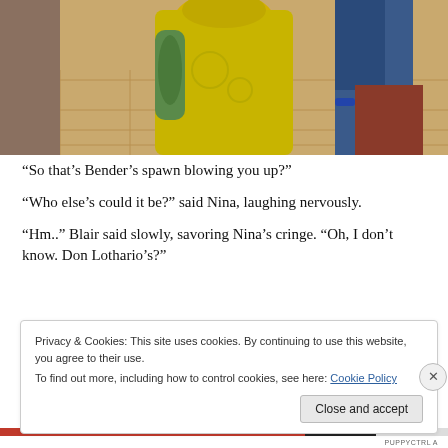[Figure (screenshot): Screenshot from a video game (The Sims) showing two characters from behind — one in a yellow-green top with tattoos and one in a blue outfit — standing on a tiled floor.]
“So that’s Bender’s spawn blowing you up?”
“Who else’s could it be?” said Nina, laughing nervously.
“Hm..” Blair said slowly, savoring Nina’s cringe. “Oh, I don’t know. Don Lothario’s?”
Privacy & Cookies: This site uses cookies. By continuing to use this website, you agree to their use.
To find out more, including how to control cookies, see here: Cookie Policy
Close and accept